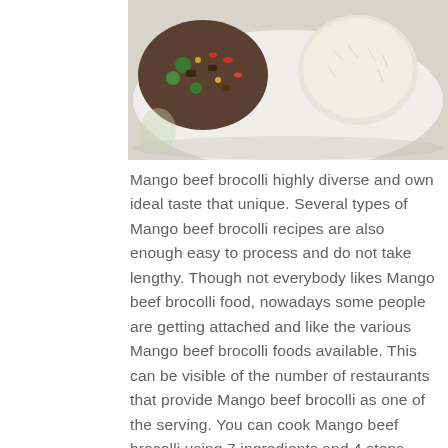[Figure (photo): A plate with stir-fried mango beef broccoli dish on the left and a mound of steamed rice on the right, viewed from above on a white plate.]
Mango beef brocolli highly diverse and own ideal taste that unique. Several types of Mango beef brocolli recipes are also enough easy to process and do not take lengthy. Though not everybody likes Mango beef brocolli food, nowadays some people are getting attached and like the various Mango beef brocolli foods available. This can be visible of the number of restaurants that provide Mango beef brocolli as one of the serving. You can cook Mango beef brocolli using 7 ingredients and 4 steps. Here is how you cook